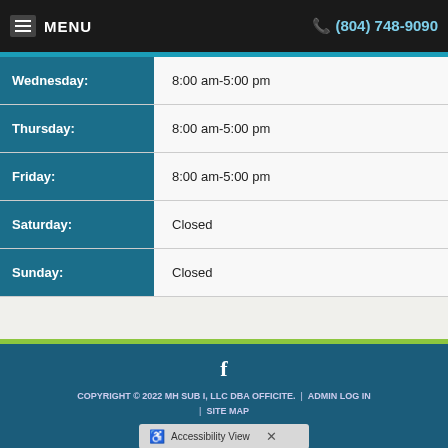MENU | (804) 748-9090
| Day | Hours |
| --- | --- |
| Wednesday: | 8:00 am-5:00 pm |
| Thursday: | 8:00 am-5:00 pm |
| Friday: | 8:00 am-5:00 pm |
| Saturday: | Closed |
| Sunday: | Closed |
COPYRIGHT © 2022 MH SUB I, LLC DBA OFFICITE. | ADMIN LOG IN | SITE MAP
Accessibility View